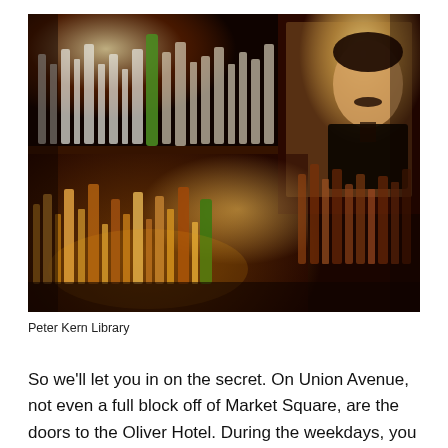[Figure (photo): Dark interior of a bar with numerous bottles of liquor on shelves illuminated warmly; a large portrait photograph of a mustachioed man in a suit hangs on the wall to the right, and rows of bottles are lit from below in amber tones.]
Peter Kern Library
So we'll let you in on the secret. On Union Avenue, not even a full block off of Market Square, are the doors to the Oliver Hotel. During the weekdays, you can enter through the lobby, as you might a destination of f